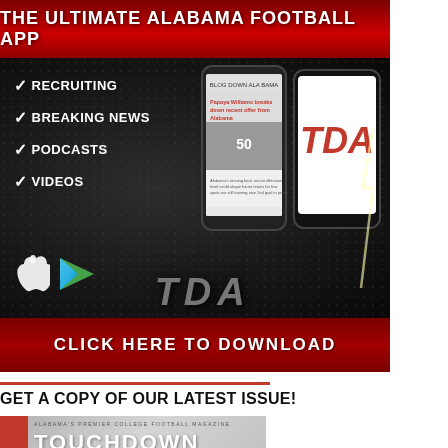[Figure (infographic): The Ultimate Alabama Football App advertisement banner with dark background, phone mockups showing TDA app, checklist of features (Recruiting, Breaking News, Podcasts, Videos), app store icons, TDA logo, and 'Click Here To Download' button]
THE ULTIMATE ALABAMA FOOTBALL APP
✓ RECRUITING
✓ BREAKING NEWS
✓ PODCASTS
✓ VIDEOS
CLICK HERE TO DOWNLOAD
GET A COPY OF OUR LATEST ISSUE!
[Figure (screenshot): Touchdown Alabama magazine preview with red spine and large TOUCHDOWN text]